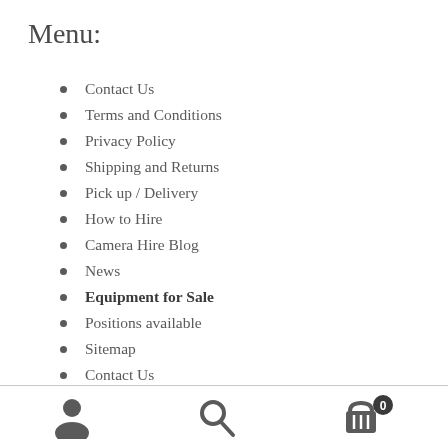Menu:
Contact Us
Terms and Conditions
Privacy Policy
Shipping and Returns
Pick up / Delivery
How to Hire
Camera Hire Blog
News
Equipment for Sale
Positions available
Sitemap
Contact Us
[Figure (other): Bottom navigation bar with user icon, search icon, and shopping cart icon with badge showing 0]